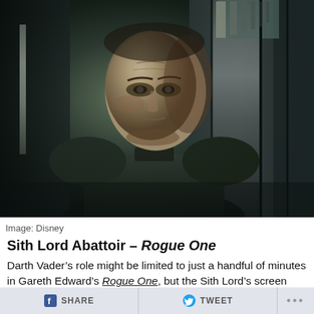[Figure (photo): A man in a dark military-style uniform, photographed in a dimly lit interior with steel panel walls. The figure appears to be Grand Moff Tarkin (CGI recreation) from Rogue One.]
Image: Disney
Sith Lord Abattoir – Rogue One
Darth Vader's role might be limited to just a handful of minutes in Gareth Edward's Rogue One, but the Sith Lord's screen presence is felt here more than ever. Watching him cut through Rebel soldiers like butter is a terrifying sight to behold, as the viewer finally gets a